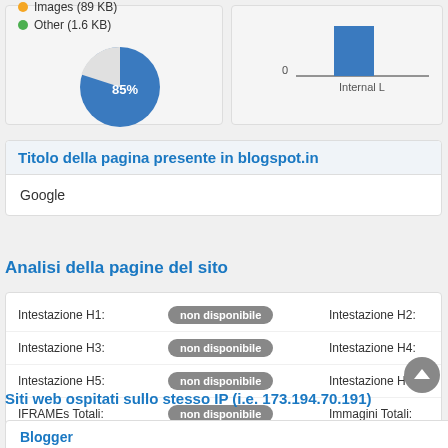[Figure (pie-chart): Pie chart with 85% slice]
[Figure (bar-chart): Internal Links bar chart]
Titolo della pagina presente in blogspot.in
Google
Analisi della pagine del sito
| Label | Value | Label2 |
| --- | --- | --- |
| Intestazione H1: | non disponibile | Intestazione H2: |
| Intestazione H3: | non disponibile | Intestazione H4: |
| Intestazione H5: | non disponibile | Intestazione H6: |
| IFRAMEs Totali: | non disponibile | Immagini Totali: |
| Google Adsense: | non disponibile | Google Analytics: |
Siti web ospitati sullo stesso IP (i.e. 173.194.70.191)
Blogger